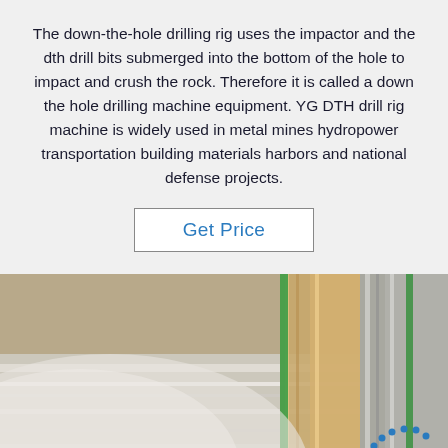The down-the-hole drilling rig uses the impactor and the dth drill bits submerged into the bottom of the hole to impact and crush the rock. Therefore it is called a down the hole drilling machine equipment. YG DTH drill rig machine is widely used in metal mines hydropower transportation building materials harbors and national defense projects.
Get Price
[Figure (photo): Close-up photograph of metallic coils/rolls of sheet material, appearing to be aluminum or metal strip coils bundled together with green strapping bands. A 'TOP' logo watermark with blue dots arranged in an arc appears in the bottom right.]